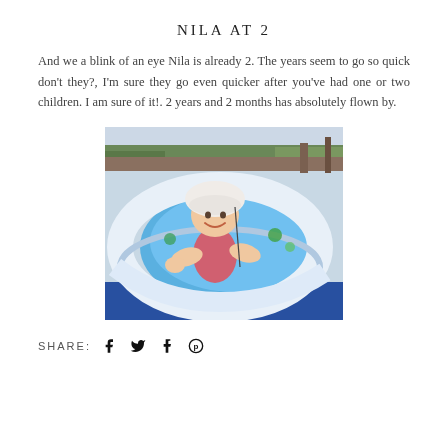NILA AT 2
And we a blink of an eye Nila is already 2. The years seem to go so quick don’t they?, I’m sure they go even quicker after you’ve had one or two children. I am sure of it!. 2 years and 2 months has absolutely flown by.
[Figure (photo): Young toddler girl wearing a white hat and pink swimsuit, leaning over the inflatable ring of a blue paddling pool in a garden setting, smiling at the camera.]
SHARE: f ᵑ5 t Ⓟ